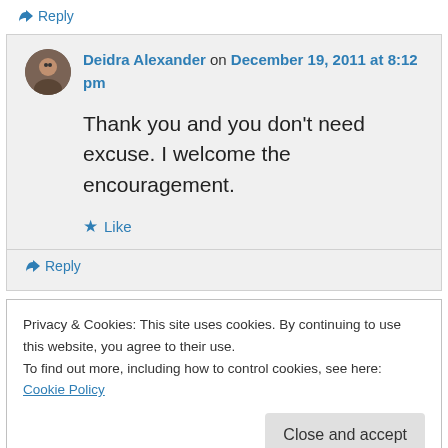↳ Reply
Deidra Alexander on December 19, 2011 at 8:12 pm
Thank you and you don't need excuse. I welcome the encouragement.
★ Like
↳ Reply
Privacy & Cookies: This site uses cookies. By continuing to use this website, you agree to their use. To find out more, including how to control cookies, see here: Cookie Policy
Close and accept
↳ Reply